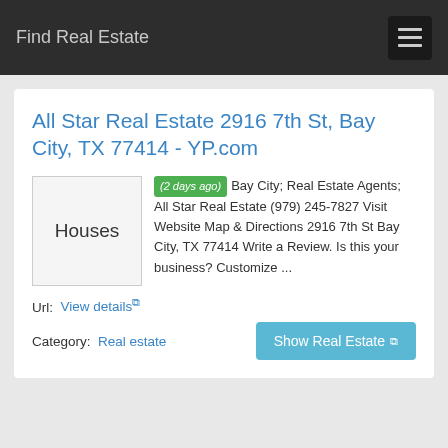Find Real Estate
All Star Real Estate 2916 7th St, Bay City, TX 77414 - YP.com
(2 days ago) Bay City; Real Estate Agents; All Star Real Estate (979) 245-7827 Visit Website Map & Directions 2916 7th St Bay City, TX 77414 Write a Review. Is this your business? Customize ...
Url:  View details
Category:  Real estate